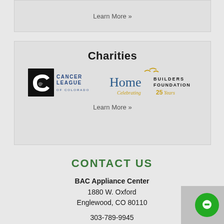Learn More »
Charities
[Figure (logo): Cancer League of Colorado logo — black square with cursive C/L monogram and blue text reading CANCER LEAGUE OF COLORADO]
[Figure (logo): Home Builders Foundation logo — text Home Builders Foundation with bird silhouettes, Celebrating 25 Years tagline in gold]
Learn More »
CONTACT US
BAC Appliance Center
1880 W. Oxford
Englewood, CO 80110

303-789-9945